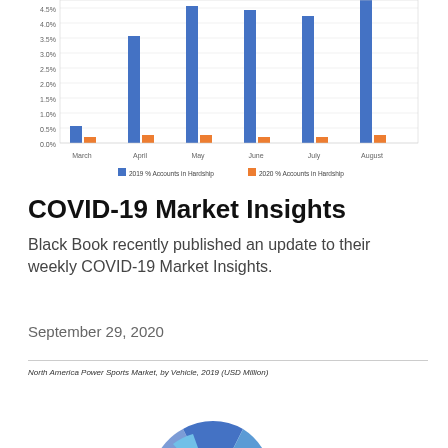[Figure (grouped-bar-chart): % Accounts in Hardship]
COVID-19 Market Insights
Black Book recently published an update to their weekly COVID-19 Market Insights.
September 29, 2020
[Figure (pie-chart): Partially visible pie chart showing North America Power Sports Market by Vehicle segments in various shades of blue and gray]